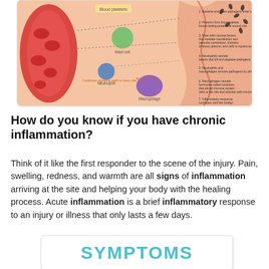[Figure (illustration): Biological diagram showing the inflammation response process: a blood vessel on the left with blood platelets, mast cells, neutrophils, cytokines signaling path to injury site, and macrophages. On the right, the wound/injury site with bacteria and pathogens entering, numbered steps 1-7 describing the inflammatory response sequence.]
How do you know if you have chronic inflammation?
Think of it like the first responder to the scene of the injury. Pain, swelling, redness, and warmth are all signs of inflammation arriving at the site and helping your body with the healing process. Acute inflammation is a brief inflammatory response to an injury or illness that only lasts a few days.
[Figure (infographic): A card/box showing the word SYMPTOMS in large teal/cyan bold letters, beginning of an infographic about symptoms of inflammation.]